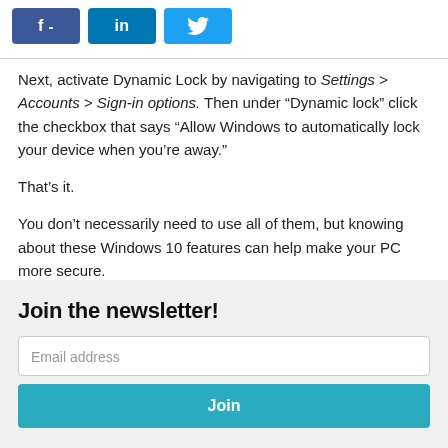[Figure (other): Social sharing buttons: Facebook (f -), LinkedIn (in), Twitter (bird icon)]
Next, activate Dynamic Lock by navigating to Settings > Accounts > Sign-in options. Then under “Dynamic lock” click the checkbox that says “Allow Windows to automatically lock your device when you’re away.”
That’s it.
You don’t necessarily need to use all of them, but knowing about these Windows 10 features can help make your PC more secure.
Join the newsletter!
Email address
Join